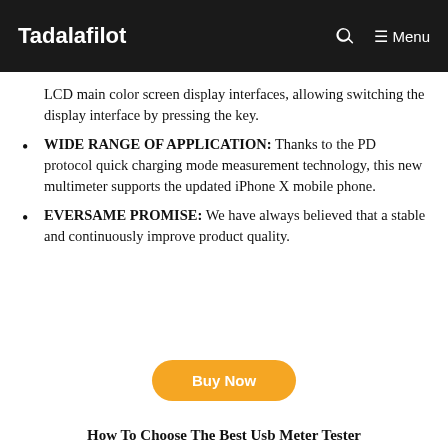Tadalafilot   Menu
LCD main color screen display interfaces, allowing switching the display interface by pressing the key.
WIDE RANGE OF APPLICATION: Thanks to the PD protocol quick charging mode measurement technology, this new multimeter supports the updated iPhone X mobile phone.
EVERSAME PROMISE: We have always believed that a stable and continuously improve product quality.
Buy Now
How To Choose The Best Usb Meter Tester